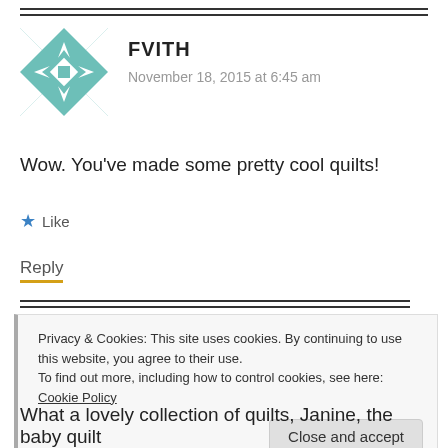[Figure (illustration): Teal/white geometric quilt-pattern avatar icon]
FVITH
November 18, 2015 at 6:45 am
Wow. You've made some pretty cool quilts!
★ Like
Reply
Privacy & Cookies: This site uses cookies. By continuing to use this website, you agree to their use.
To find out more, including how to control cookies, see here: Cookie Policy
Close and accept
What a lovely collection of quilts, Janine, the baby quilt